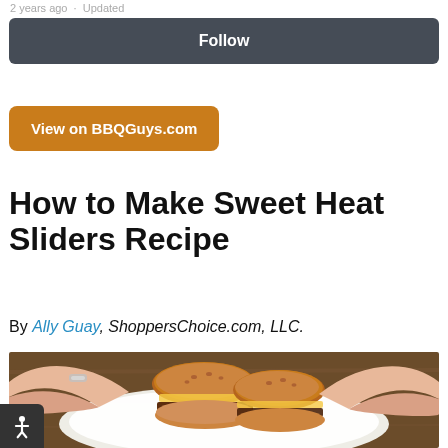2 years ago · Updated
Follow
View on BBQGuys.com
How to Make Sweet Heat Sliders Recipe
By Ally Guay, ShoppersChoice.com, LLC.
[Figure (photo): Hands holding a white plate with sweet heat sliders (small burgers with golden-brown buns and melted cheese), on a wooden surface background.]